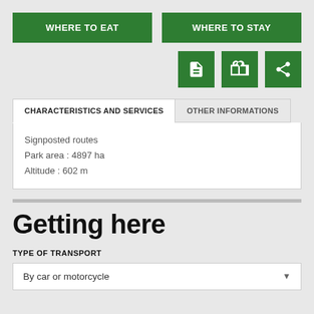WHERE TO EAT
WHERE TO STAY
[Figure (infographic): Three green icon buttons: document, briefcase, and share icons]
CHARACTERISTICS AND SERVICES
OTHER INFORMATIONS
Signposted routes
Park area : 4897 ha
Altitude : 602 m
Getting here
TYPE OF TRANSPORT
By car or motorcycle